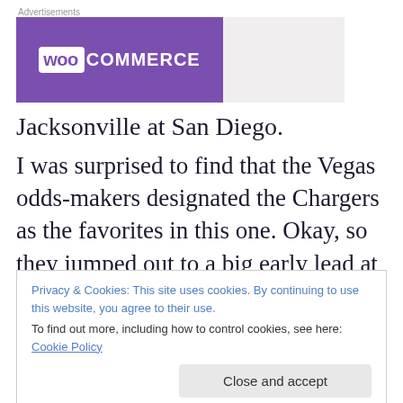[Figure (logo): WooCommerce advertisement banner with purple background on left and gray on right]
Jacksonville at San Diego.
I was surprised to find that the Vegas odds-makers designated the Chargers as the favorites in this one. Okay, so they jumped out to a big early lead at Kansas City last
Privacy & Cookies: This site uses cookies. By continuing to use this website, you agree to their use.
To find out more, including how to control cookies, see here: Cookie Policy
And yes, the Jags are 0-1 and travelling across the country